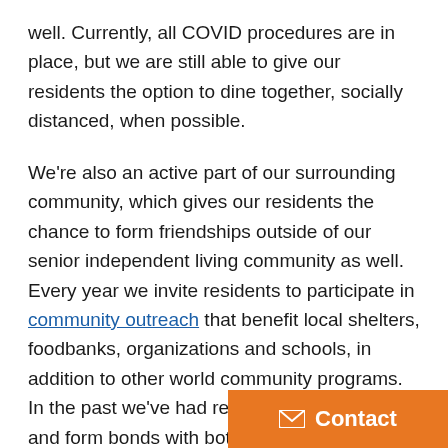well. Currently, all COVID procedures are in place, but we are still able to give our residents the option to dine together, socially distanced, when possible.
We're also an active part of our surrounding community, which gives our residents the chance to form friendships outside of our senior independent living community as well. Every year we invite residents to participate in community outreach that benefit local shelters, foodbanks, organizations and schools, in addition to other world community programs. In the past we've had residents come together and form bonds with both residents and community members while knitting for premature babies, baking treats for Ronald McDonald House, and volunteering at the St. Francis